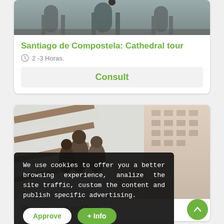[Figure (photo): Interior of a cathedral with stone arches and columns, dark moody tones]
Santiago de Compostela: Cathedral tour
2 -3 Horas.
Consult
[Figure (photo): Outdoor scene with statues and urban building in background]
We use cookies to offer you a better browsing experience, analize the site traffic, custom the content and publish specific advertising.
Approve
+ Info
Private visit in Vigo